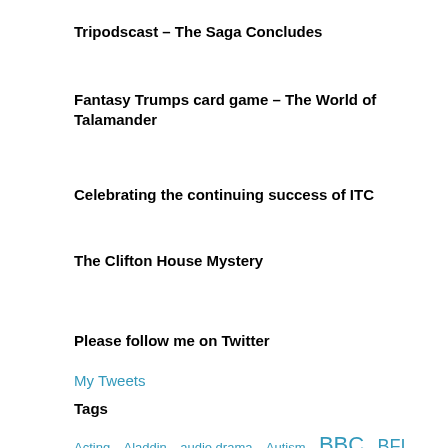Tripodscast – The Saga Concludes
Fantasy Trumps card game – The World of Talamander
Celebrating the continuing success of ITC
The Clifton House Mystery
Please follow me on Twitter
My Tweets
Tags
Acting  Aladdin  audio drama  Autism  BBC  BFI  Bolton